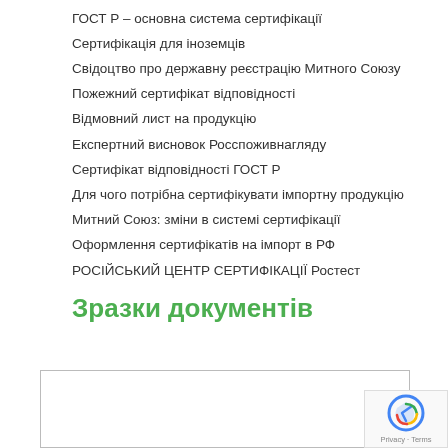ГОСТ Р – основна система сертифікації
Сертифікація для іноземців
Свідоцтво про державну реєстрацію Митного Союзу
Пожежний сертифікат відповідності
Відмовний лист на продукцію
Експертний висновок Росспоживнагляду
Сертифікат відповідності ГОСТ Р
Для чого потрібна сертифікувати імпортну продукцію
Митний Союз: зміни в системі сертифікації
Оформлення сертифікатів на імпорт в РФ
РОСІЙСЬКИЙ ЦЕНТР СЕРТИФІКАЦІЇ Ростест
Зразки документів
[Figure (other): Document sample box with border, partially visible at bottom of page]
[Figure (other): reCAPTCHA badge with arrow icon and Privacy - Terms text]